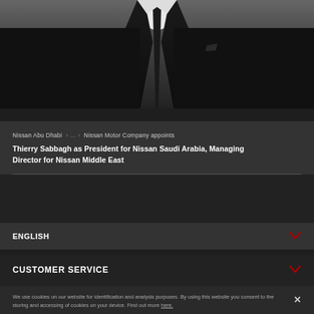[Figure (photo): Portrait photo of a man in a dark suit and tie, cropped to show torso/chest area against a grey background]
Nissan Abu Dhabi > ... > Nissan Motor Company appoints Thierry Sabbagh as President for Nissan Saudi Arabia, Managing Director for Nissan Middle East
ENGLISH
CUSTOMER SERVICE
We use cookies on our website for identification and analysis purposes. By using this website you consent to the storing and accessing of cookies on your device. Find out more here.